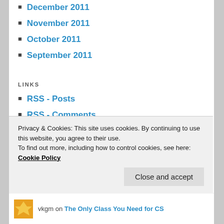December 2011
November 2011
October 2011
September 2011
LINKS
RSS - Posts
RSS - Comments
RECENT POSTS
Safe API Upgrade
What is wrong with this code?
Eliminate Useless Comments
Let Me Save Incomplete Files
Privacy & Cookies: This site uses cookies. By continuing to use this website, you agree to their use.
To find out more, including how to control cookies, see here: Cookie Policy
Close and accept
vkgm on The Only Class You Need for CS